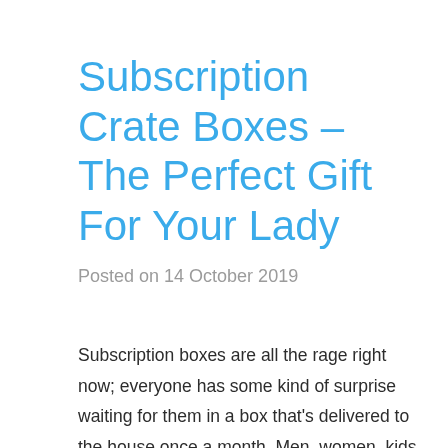Subscription Crate Boxes – The Perfect Gift For Your Lady
Posted on 14 October 2019
Subscription boxes are all the rage right now; everyone has some kind of surprise waiting for them in a box that's delivered to the house once a month. Men, women, kids, teens, dogs, cats, you name it, there's a surprise gift box out there that's perfect for them. If you're looking for the